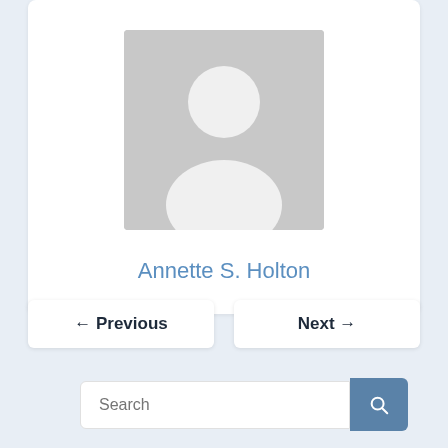[Figure (photo): Gray placeholder avatar silhouette of a person on a gray background square]
Annette S. Holton
← Previous
Next →
Search